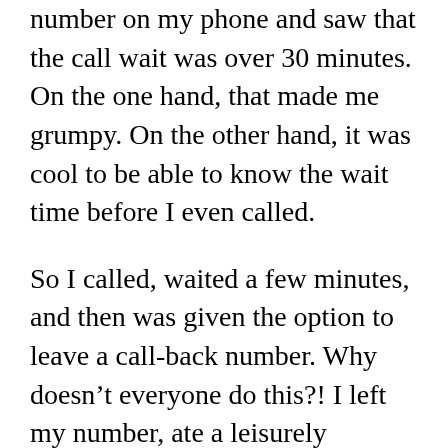number on my phone and saw that the call wait was over 30 minutes. On the one hand, that made me grumpy. On the other hand, it was cool to be able to know the wait time before I even called.
So I called, waited a few minutes, and then was given the option to leave a call-back number. Why doesn't everyone do this?! I left my number, ate a leisurely breakfast, and relaxed. Someone from Sonic.net called back about 45 minutes later. I explained what had happened, he saw that I still had 15 days left on my warranty, and said he'd send out a new modem right away.
I asked how long it would take, and he said two to three business days. Again, that made me grumpy.